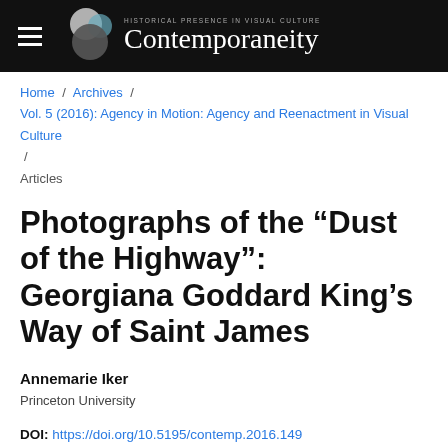Contemporaneity: Historical Presence in Visual Culture
Home / Archives / Vol. 5 (2016): Agency in Motion: Agency and Reenactment in Visual Culture / Articles
Photographs of the “Dust of the Highway”: Georgiana Goddard King’s Way of Saint James
Annemarie Iker
Princeton University
DOI: https://doi.org/10.5195/contemp.2016.149